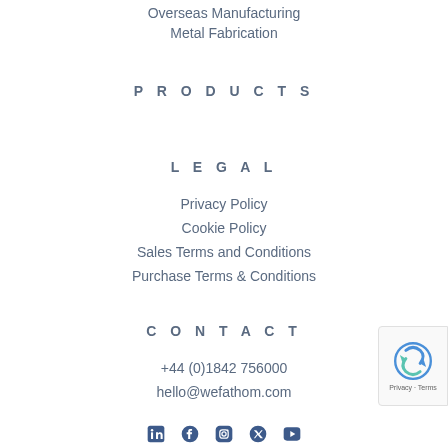Overseas Manufacturing
Metal Fabrication
PRODUCTS
LEGAL
Privacy Policy
Cookie Policy
Sales Terms and Conditions
Purchase Terms & Conditions
CONTACT
+44 (0)1842 756000
hello@wefathom.com
[Figure (logo): reCAPTCHA badge with logo and Privacy - Terms text]
[Figure (illustration): Social media icons row: LinkedIn, Facebook, Instagram, Twitter/X, YouTube]